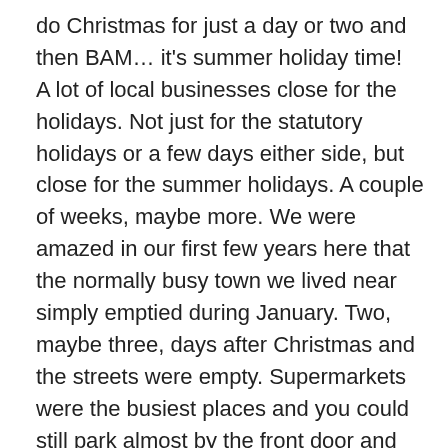do Christmas for just a day or two and then BAM… it's summer holiday time! A lot of local businesses close for the holidays. Not just for the statutory holidays or a few days either side, but close for the summer holidays. A couple of weeks, maybe more. We were amazed in our first few years here that the normally busy town we lived near simply emptied during January. Two, maybe three, days after Christmas and the streets were empty. Supermarkets were the busiest places and you could still park almost by the front door and bump into nobody whilst there! And if you needed any work done; a mechanic for your car, a sparky to wire in a new electrical thing, or any such kind of task – then you're pretty much out of luck – unless you have a mate, who has a mate, who knows someone that has NOT gone away on holiday and can *maybe* get to you in a week or